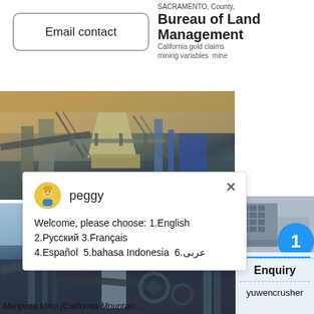Email contact
SACRAMENTO, County, California gold claims mining variables mine Bureau of Land Management
[Figure (photo): Industrial mining equipment and machinery at an open-pit mine site, showing conveyor belts, crushers, and metal structures against a hillside.]
peggy
Welcome, please choose: 1.English  2.Русский 3.Français  4.Español  5.bahasa Indonesia  6.عربى
[Figure (photo): Industrial mining plant with tall cylindrical structures, conveyor systems, and metal scaffolding under a blue sky.]
Mariposa Mine (California Mountain...
1
Click me to chat>>
Enquiry
yuwencrusher